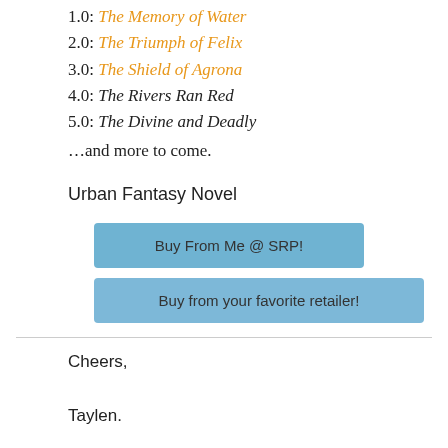1.0: The Memory of Water
2.0: The Triumph of Felix
3.0: The Shield of Agrona
4.0: The Rivers Ran Red
5.0: The Divine and Deadly
...and more to come.
Urban Fantasy Novel
Buy From Me @ SRP!
Buy from your favorite retailer!
Cheers,
Taylen.